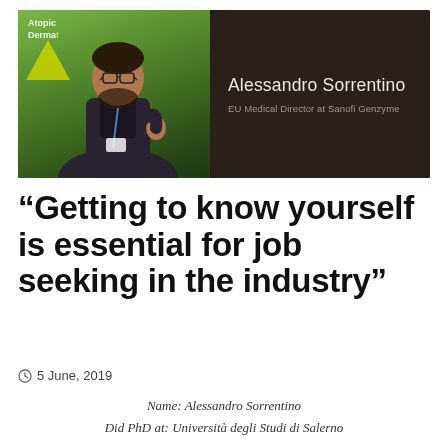[Figure (photo): Photo of Alessandro Sorrentino speaking at a conference podium, with green banner in background. Dark brown overlay on right side shows his name and title: Alessandro Sorrentino, EU Medical Director at Sanofi Genzyme.]
“Getting to know yourself is essential for job seeking in the industry”
5 June, 2019
Name: Alessandro Sorrentino
Did PhD at: Università degli Studi di Salerno